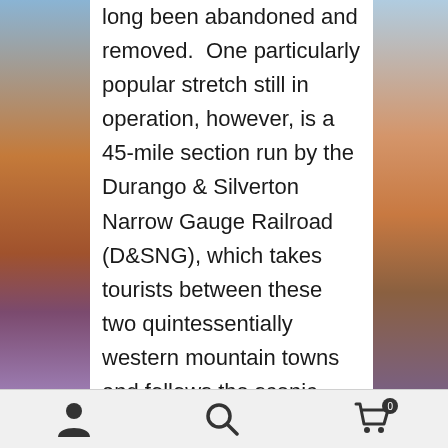long been abandoned and removed. One particularly popular stretch still in operation, however, is a 45-mile section run by the Durango & Silverton Narrow Gauge Railroad (D&SNG), which takes tourists between these two quintessentially western mountain towns and follows the scenic Animas River through steep, forested terrain.

Located approximately 26 miles north of Durango, the Cascade Canyon Wye was constructed in 1981 to provide the D&SNG a place
[Figure (photo): Left side scenic background photo of canyon/mountain landscape with purple and orange hues]
[Figure (photo): Right side scenic background photo of canyon landscape with orange and blue sky hues]
Navigation bar with person icon, search icon, and shopping cart icon with badge showing 0